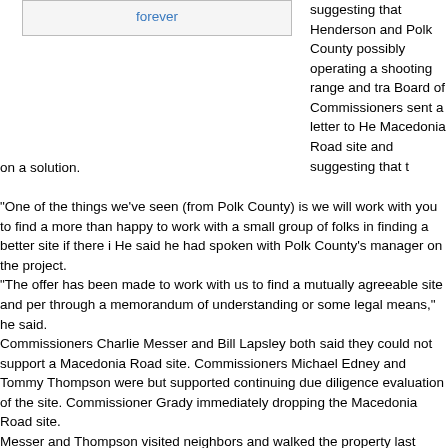forever
suggesting that Henderson and Polk County possibly operating a shooting range and tra Board of Commissioners sent a letter to He Macedonia Road site and suggesting that t on a solution.
“One of the things we’ve seen (from Polk County) is we will work with you to find a more than happy to work with a small group of folks in finding a better site if there i He said he had spoken with Polk County’s manager on the project. “The offer has been made to work with us to find a mutually agreeable site and per through a memorandum of understanding or some legal means,” he said. Commissioners Charlie Messer and Bill Lapsley both said they could not support a Macedonia Road site. Commissioners Michael Edney and Tommy Thompson were but supported continuing due diligence evaluation of the site. Commissioner Grady immediately dropping the Macedonia Road site. Messer and Thompson visited neighbors and walked the property last week. “After going there, this parcel is not where any kind of training facility needs to be i provoking robust applause from the crowd. “We’ve been all over the county, north, opinion we probably need to take an outdoor shooting range off the map because property I don’t think in Henderson County. I think that should be dropped from dis Lapsley said that while he appreciated Edney “trying to find middle ground” he had support a rezoning or special-use permit clearing the way for a range on the Mace “This board has looked at this for three years of my four year term and this is the fo